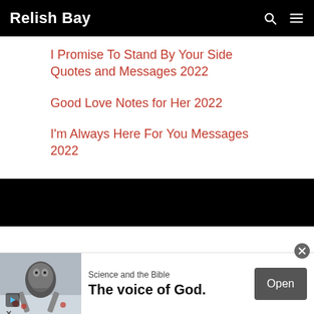Relish Bay
I Promise To Stand By Your Side Quotes and Messages 2022
Good Love Notes for Her 2022
I'm Always Here For You Messages 2022
[Figure (other): Advertisement banner: bird photo with text 'Science and the Bible / The voice of God.' and Open button]